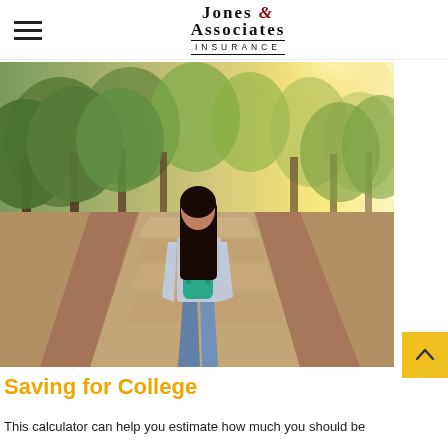Jones & Associates Insurance
[Figure (photo): Young woman with long dark hair and a teal/green backpack walking away down a tree-lined campus pathway, warm sunlight filtering through the trees.]
Saving for College
This calculator can help you estimate how much you should be